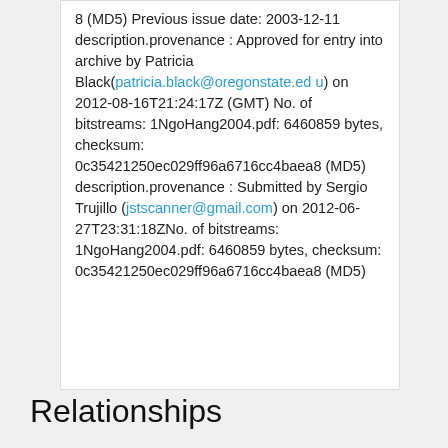8 (MD5) Previous issue date: 2003-12-11 description.provenance : Approved for entry into archive by Patricia Black(patricia.black@oregonstate.edu) on 2012-08-16T21:24:17Z (GMT) No. of bitstreams: 1NgoHang2004.pdf: 6460859 bytes, checksum: 0c35421250ec029ff96a6716cc4baea8 (MD5) description.provenance : Submitted by Sergio Trujillo (jstscanner@gmail.com) on 2012-06-27T23:31:18ZNo. of bitstreams: 1NgoHang2004.pdf: 6460859 bytes, checksum: 0c35421250ec029ff96a6716cc4baea8 (MD5)
Relationships